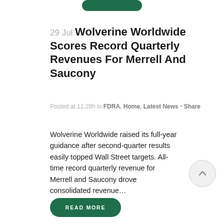29 Jul Wolverine Worldwide Scores Record Quarterly Revenues For Merrell And Saucony
Posted at 11:28h in FDRA, Home, Latest News · Share
Wolverine Worldwide raised its full-year guidance after second-quarter results easily topped Wall Street targets. All-time record quarterly revenue for Merrell and Saucony drove consolidated revenue…